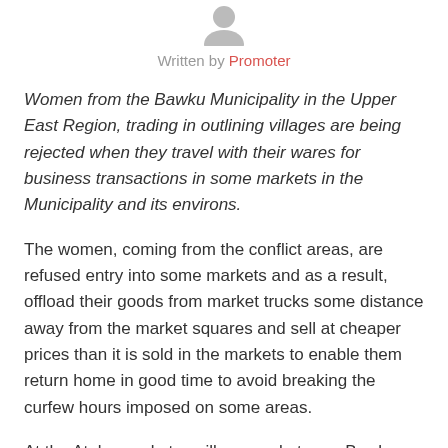[Figure (illustration): Avatar/profile icon showing a generic person silhouette in gray]
Written by Promoter
Women from the Bawku Municipality in the Upper East Region, trading in outlining villages are being rejected when they travel with their wares for business transactions in some markets in the Municipality and its environs.
The women, coming from the conflict areas, are refused entry into some markets and as a result, offload their goods from market trucks some distance away from the market squares and sell at cheaper prices than it is sold in the markets to enable them return home in good time to avoid breaking the curfew hours imposed on some areas.
At the Atoba market, a village market near Bawku, some shops belonging to the women were burnt down, destroying most of their wares.